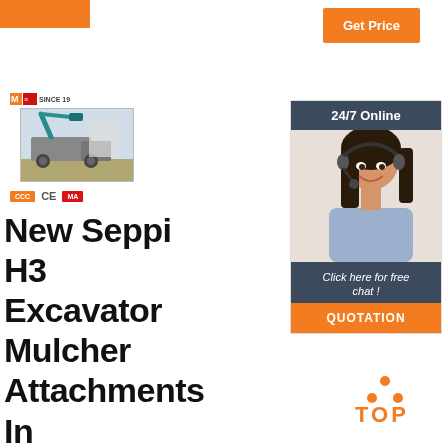[Figure (logo): Orange header bar top left]
Get Price
[Figure (logo): Company logo with flag and SINCE 1979]
[Figure (photo): Excavator mulcher attachment on a truck, teal/green colored machine]
CCC  CE  MA certification badges
New Seppi H3 Excavator Mulcher Attachments In
[Figure (photo): 24/7 Online support panel with woman in headset, Click here for free chat, QUOTATION button]
[Figure (infographic): TOP button with orange dots arranged in triangle above orange TOP text]